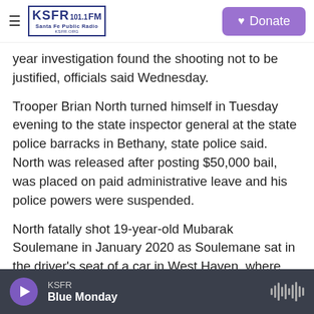KSFR 101.1 FM Santa Fe Public Radio | Donate
year investigation found the shooting not to be justified, officials said Wednesday.
Trooper Brian North turned himself in Tuesday evening to the state inspector general at the state police barracks in Bethany, state police said. North was released after posting $50,000 bail, was placed on paid administrative leave and his police powers were suspended.
North fatally shot 19-year-old Mubarak Soulemane in January 2020 as Soulemane sat in the driver's seat of a car in West Haven, where the chase ended and police boxed in the car. North told
KSFR — Blue Monday